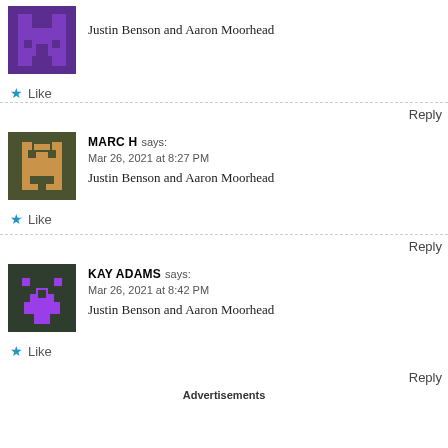[Figure (illustration): Pixel art avatar with purple castle/character on dark purple background]
Justin Benson and Aaron Moorhead
Like
Reply
MARC H says: Mar 26, 2021 at 8:27 PM
[Figure (illustration): Pixel art avatar with floppy disk/character on olive/dark green background]
Justin Benson and Aaron Moorhead
Like
Reply
KAY ADAMS says: Mar 26, 2021 at 8:42 PM
[Figure (illustration): Pixel art avatar with purple trophy/character on dark green background]
Justin Benson and Aaron Moorhead
Like
Reply
Advertisements